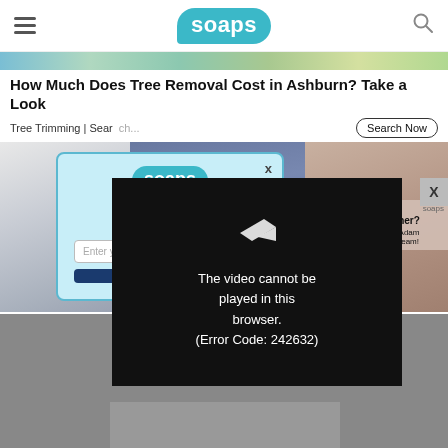soaps (navigation bar with hamburger menu and search icon)
[Figure (screenshot): Banner background image with tropical/nature scene]
How Much Does Tree Removal Cost in Ashburn? Take a Look
Tree Trimming | Search Now
[Figure (screenshot): Soaps.com sign-in modal popup with light blue background, soaps logo, heading 'Soaps...', subtext 'Sig...', email input 'Enter yo...' and a dark blue button]
[Figure (screenshot): Video player overlay showing error: 'The video cannot be played in this browser. (Error Code: 242632)' on black background with a play/arrow icon]
[Figure (screenshot): Background content area with decorative fabric/curtain images and a sidebar advertisement with text 'her?' 'Adam' 'team!']
[Figure (screenshot): Gray placeholder content area at the bottom of the page]